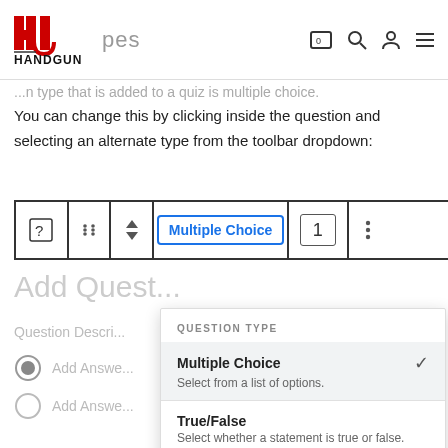[Figure (logo): Handgun University logo with red H and J letters]
pes
...n type that is added to a quiz is multiple choice.
You can change this by clicking inside the question and selecting an alternate type from the toolbar dropdown:
[Figure (screenshot): Quiz toolbar showing Multiple Choice dropdown button and number 1]
Add Quest...
Question Descri...
Add Answe... (radio selected)
Add Answe... (radio unselected)
[Figure (screenshot): Question Type dropdown menu showing Multiple Choice (checked), True/False, Gap Fill options]